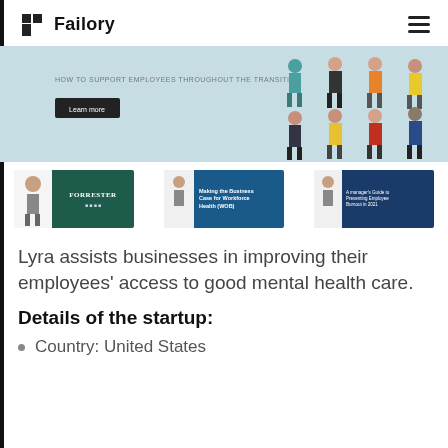Failory
[Figure (illustration): Banner image showing cartoon illustration of diverse employees on a light blue background with text 'HOW TO SUPPORT EMPLOYEES THROUGHOUT THE TRANSITION' and a 'Learn more' button. Eight cartoon human figures are displayed.]
[Figure (screenshot): Row of three document thumbnails: Forrester (dark green cover), Making the Business Case for Workforce Health (dark blue cover), A Manager's Guide to Preventing Employee Burnout in 2021 (dark navy cover).]
Lyra assists businesses in improving their employees' access to good mental health care.
Details of the startup:
Country: United States